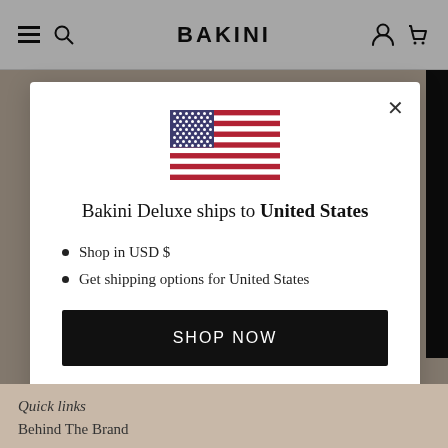BAKINI
[Figure (screenshot): Modal dialog on a retail website showing US flag, shipping info, and call to action buttons]
Bakini Deluxe ships to United States
Shop in USD $
Get shipping options for United States
SHOP NOW
CHANGE SHIPPING COUNTRY
Quick links
Behind The Brand